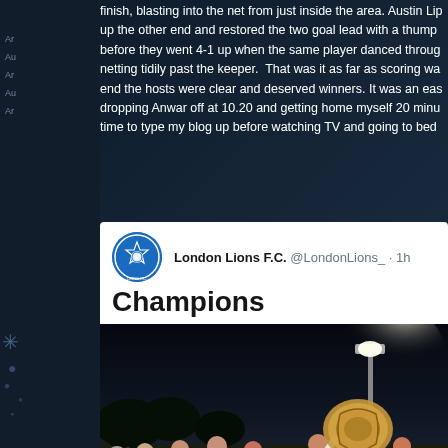finish, blasting into the net from just inside the area. Austin Lip up the other end and restored the two goal lead with a thump before they went 4-1 up when the same player danced throug netting tidily past the keeper. That was it as far as scoring wa end the hosts were clear and deserved winners. It was an eas dropping Anwar off at 10.20 and getting home myself 20 minu time to type my blog up before watching TV and going to bed
[Figure (screenshot): Tweet from London Lions F.C. (@LondonLions_) posted 1h ago saying 'Champions', with a photo of football players celebrating with a trophy shield under floodlights at night.]